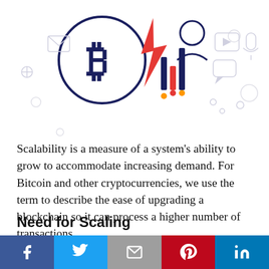[Figure (illustration): Crypto/blockchain scalability illustration showing a Bitcoin symbol in a circle, a lightning bolt, a person icon, vertical bar chart-like elements in dark blue and orange/red, and various connected icons (video, microphone, chat bubbles) in light outline style on white background.]
Scalability is a measure of a system's ability to grow to accommodate increasing demand. For Bitcoin and other cryptocurrencies, we use the term to describe the ease of upgrading a blockchain so it can process a higher number of transactions.
Need for Scaling
One of the main functions of Bitcoin is to be used as an alternative for fiat money to many payments. Due to its rising popularity and relatively low
f  t  ✉  p  in